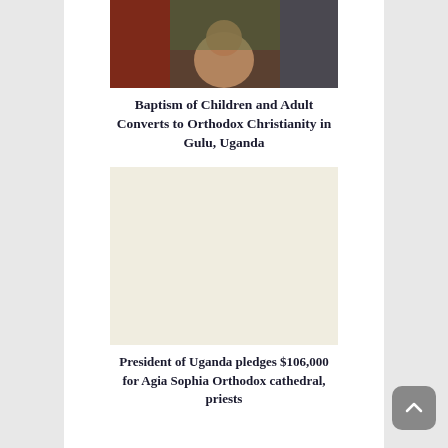[Figure (photo): A baptism scene showing a woman kneeling while others lay hands on her, outdoors in Uganda]
Baptism of Children and Adult Converts to Orthodox Christianity in Gulu, Uganda
[Figure (photo): A second photo, appears light/blank or faded, related to Uganda Orthodox Christianity]
President of Uganda pledges $106,000 for Agia Sophia Orthodox cathedral, priests